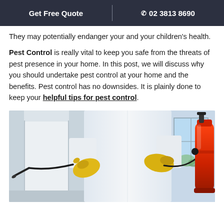Get Free Quote | ☎ 02 3813 8690
They may potentially endanger your and your children’s health.
Pest Control is really vital to keep you safe from the threats of pest presence in your home. In this post, we will discuss why you should undertake pest control at your home and the benefits. Pest control has no downsides. It is plainly done to keep your helpful tips for pest control.
[Figure (photo): A pest control worker in a white protective suit and yellow gloves holding a spray hose, with a red/orange spray tank visible on the right side. Indoor setting with walls and a window visible in the background.]